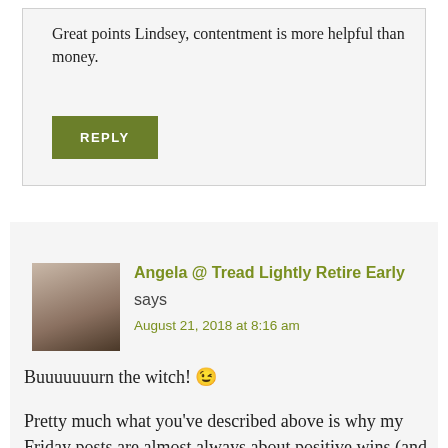Great points Lindsey, contentment is more helpful than money.
REPLY
Angela @ Tread Lightly Retire Early says
August 21, 2018 at 8:16 am
Buuuuuuurn the witch! 😉
Pretty much what you've described above is why my Friday posts are almost always about positive wins (and really just describing our lifestyle). I fall very much on the side of creating a life that we enjoy right now, not ten years in